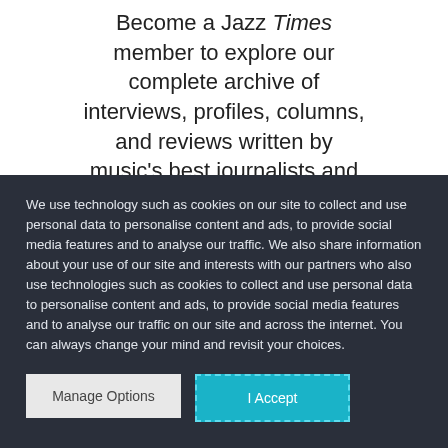Become a Jazz Times member to explore our complete archive of interviews, profiles, columns, and reviews written by music's best journalists and
We use technology such as cookies on our site to collect and use personal data to personalise content and ads, to provide social media features and to analyse our traffic. We also share information about your use of our site and interests with our partners who also use technologies such as cookies to collect and use personal data to personalise content and ads, to provide social media features and to analyse our traffic on our site and across the internet. You can always change your mind and revisit your choices.
Manage Options
I Accept